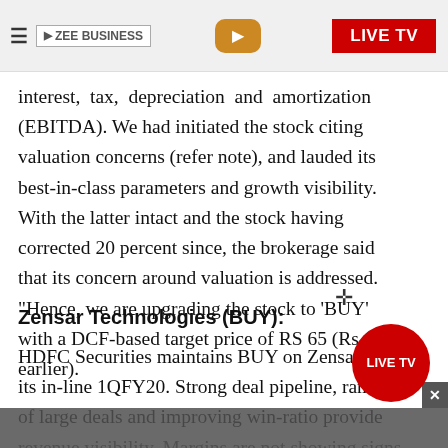ZEE BUSINESS | LIVE TV
interest, tax, depreciation and amortization (EBITDA). We had initiated the stock citing valuation concerns (refer note), and lauded its best-in-class parameters and growth visibility. With the latter intact and the stock having corrected 20 percent since, the brokerage said that its concern around valuation is addressed. "Hence, we are upgrading the stock to 'BUY' with a DCF-based target price of RS 65 (Rs 69 earlier).
Zensar Technologies (BUY):
HDFC Securities maintains BUY on Zensar after its in-line 1QFY20. Strong deal pipeline, ramp-up of large deals and improving win-ratio provide revenue visibility. Margins are not showing signs...